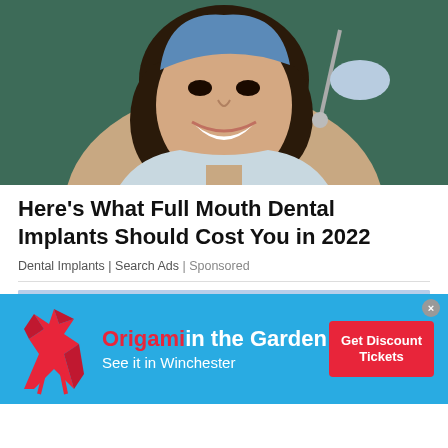[Figure (photo): Woman smiling in dental chair with dentist tools nearby, dental examination scene]
Here's What Full Mouth Dental Implants Should Cost You in 2022
Dental Implants | Search Ads | Sponsored
[Figure (photo): Blue sky with clouds, partial view of second article image]
[Figure (infographic): Origami in the Garden advertisement banner - blue background with red origami deer figure, text 'Origami in the Garden - See it in Winchester' and red 'Get Discount Tickets' button]